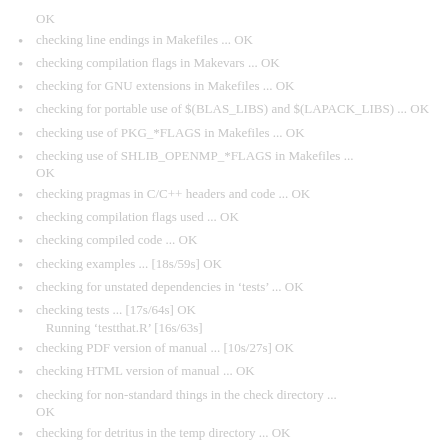OK
checking line endings in Makefiles ... OK
checking compilation flags in Makevars ... OK
checking for GNU extensions in Makefiles ... OK
checking for portable use of $(BLAS_LIBS) and $(LAPACK_LIBS) ... OK
checking use of PKG_*FLAGS in Makefiles ... OK
checking use of SHLIB_OPENMP_*FLAGS in Makefiles ... OK
checking pragmas in C/C++ headers and code ... OK
checking compilation flags used ... OK
checking compiled code ... OK
checking examples ... [18s/59s] OK
checking for unstated dependencies in ‘tests’ ... OK
checking tests ... [17s/64s] OK
    Running ‘testthat.R’ [16s/63s]
checking PDF version of manual ... [10s/27s] OK
checking HTML version of manual ... OK
checking for non-standard things in the check directory ... OK
checking for detritus in the temp directory ... OK
DONE
Status: OK